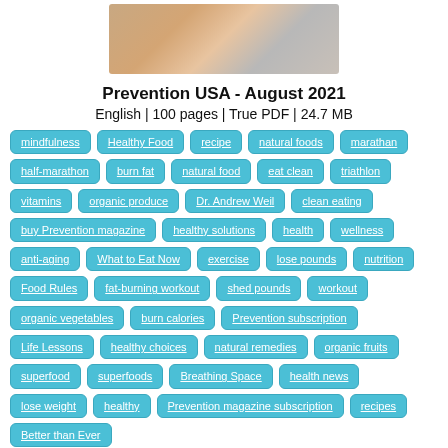[Figure (photo): Partial cover image of Prevention USA magazine, August 2021 issue, showing a blurred close-up photograph]
Prevention USA - August 2021
English | 100 pages | True PDF | 24.7 MB
mindfulness
Healthy Food
recipe
natural foods
marathan
half-marathon
burn fat
natural food
eat clean
triathlon
vitamins
organic produce
Dr. Andrew Weil
clean eating
buy Prevention magazine
healthy solutions
health
wellness
anti-aging
What to Eat Now
exercise
lose pounds
nutrition
Food Rules
fat-burning workout
shed pounds
workout
organic vegetables
burn calories
Prevention subscription
Life Lessons
healthy choices
natural remedies
organic fruits
superfood
superfoods
Breathing Space
health news
lose weight
healthy
Prevention magazine subscription
recipes
Better than Ever